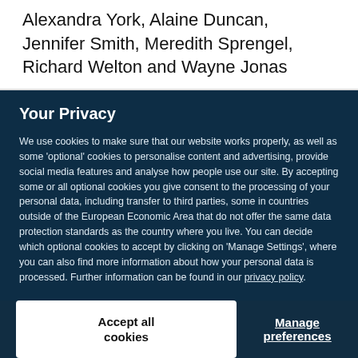Alexandra York, Alaine Duncan, Jennifer Smith, Meredith Sprengel, Richard Welton and Wayne Jonas
Your Privacy
We use cookies to make sure that our website works properly, as well as some ‘optional’ cookies to personalise content and advertising, provide social media features and analyse how people use our site. By accepting some or all optional cookies you give consent to the processing of your personal data, including transfer to third parties, some in countries outside of the European Economic Area that do not offer the same data protection standards as the country where you live. You can decide which optional cookies to accept by clicking on ‘Manage Settings’, where you can also find more information about how your personal data is processed. Further information can be found in our privacy policy.
Accept all cookies
Manage preferences